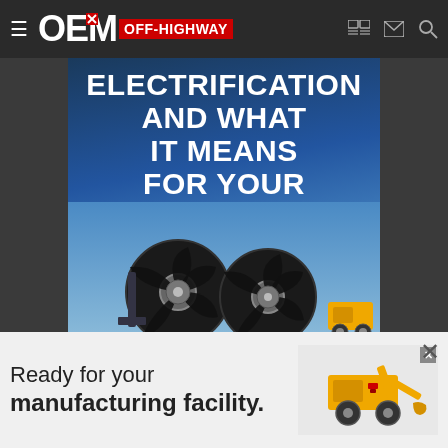OEM OFF-HIGHWAY
[Figure (illustration): Advertisement banner for electrification webinar/event. Dark blue gradient background with bold white text reading 'ELECTRIFICATION AND WHAT IT MEANS FOR YOUR APPLICATIONS' with a 'REGISTER NOW >>' button and industrial fan/cooling equipment at the bottom.]
[Figure (illustration): Bottom advertisement banner reading 'Ready for your manufacturing facility.' with image of a yellow construction/agricultural machine on the right side.]